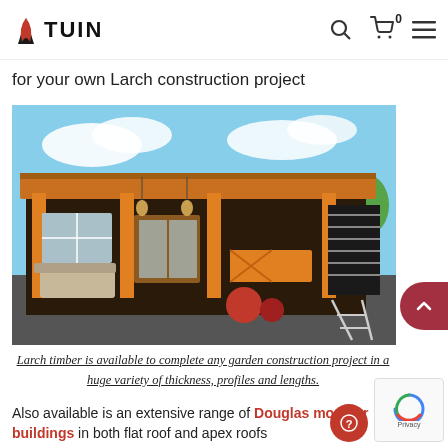TUIN
for your own Larch construction project
[Figure (photo): A large wooden modular garden building with flat roof, open-sided pergola area with seating, bar counter, and outdoor furniture on a deck. Blue sky background.]
Larch timber is available to complete any garden construction project in a huge variety of thickness, profiles and lengths.
Also available is an extensive range of Douglas modular buildings in both flat roof and apex roofs